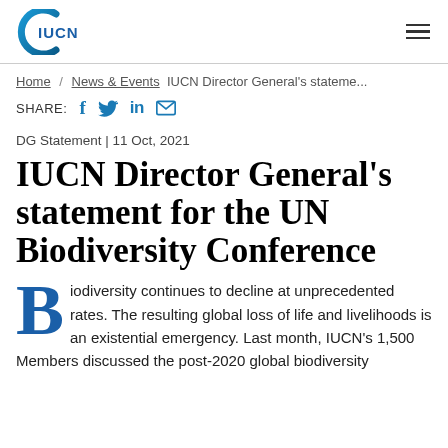IUCN
Home / News & Events IUCN Director General's stateme...
SHARE: [social icons]
DG Statement | 11 Oct, 2021
IUCN Director General's statement for the UN Biodiversity Conference
Biodiversity continues to decline at unprecedented rates. The resulting global loss of life and livelihoods is an existential emergency. Last month, IUCN's 1,500 Members discussed the post-2020 global biodiversity